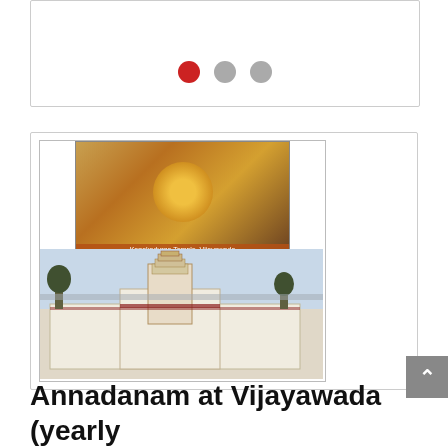[Figure (other): Slideshow card with three pagination dots — one red dot and two gray dots — indicating a carousel/slideshow widget on a webpage]
[Figure (photo): Composite image card showing Kanakadurga Temple, Vijayawada: top portion shows a decorated goddess idol (Kanakadurga) with orange banner text 'Kanakadurga Temple, Vijayawada'; bottom portion shows an aerial/exterior view of the white temple complex with ornate towers]
Annadanam at Vijayawada (yearly